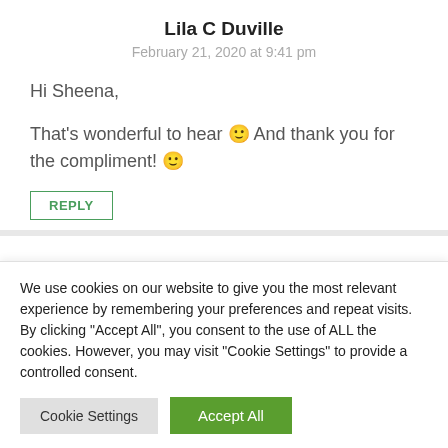Lila C Duville
February 21, 2020 at 9:41 pm
Hi Sheena,
That's wonderful to hear 🙂 And thank you for the compliment! 🙂
REPLY
We use cookies on our website to give you the most relevant experience by remembering your preferences and repeat visits. By clicking "Accept All", you consent to the use of ALL the cookies. However, you may visit "Cookie Settings" to provide a controlled consent.
Cookie Settings
Accept All